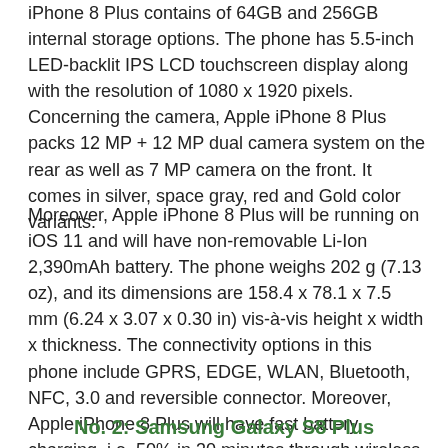iPhone 8 Plus contains of 64GB and 256GB internal storage options. The phone has 5.5-inch LED-backlit IPS LCD touchscreen display along with the resolution of 1080 x 1920 pixels. Concerning the camera, Apple iPhone 8 Plus packs 12 MP + 12 MP dual camera system on the rear as well as 7 MP camera on the front. It comes in silver, space gray, red and Gold color variants.
Moreover, Apple iPhone 8 Plus will be running on iOS 11 and will have non-removable Li-Ion 2,390mAh battery. The phone weighs 202 g (7.13 oz), and its dimensions are 158.4 x 78.1 x 7.5 mm (6.24 x 3.07 x 0.30 in) vis-à-vis height x width x thickness. The connectivity options in this phone include GPRS, EDGE, WLAN, Bluetooth, NFC, 3.0 and reversible connector. Moreover, Apple iPhone 8 Plus will have fast battery charging, i.e. 50% in 30 minutes through wireless charging. Current Apple iPhone 8 Plus price in Pakistan is Rs. 95,999.
No. 2: Samsung Galaxy S8 Plus